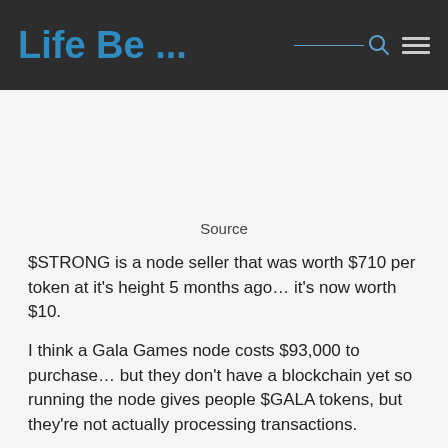Life Be ...
Source
$STRONG is a node seller that was worth $710 per token at it's height 5 months ago… it's now worth $10.
I think a Gala Games node costs $93,000 to purchase… but they don't have a blockchain yet so running the node gives people $GALA tokens, but they're not actually processing transactions.